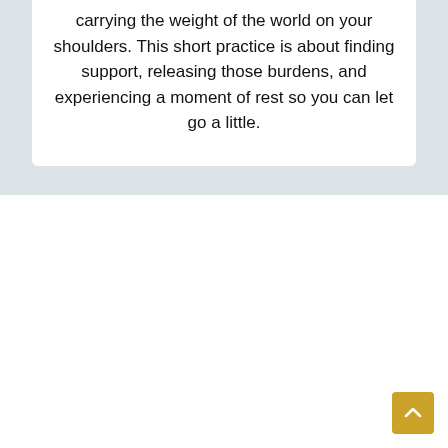carrying the weight of the world on your shoulders. This short practice is about finding support, releasing those burdens, and experiencing a moment of rest so you can let go a little.